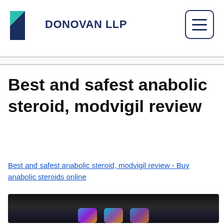DONOVAN LLP
Best and safest anabolic steroid, modvigil review
Best and safest anabolic steroid, modvigil review - Buy anabolic steroids online
[Figure (photo): Blurred dark-background image showing supplement products with colorful labels at the bottom]